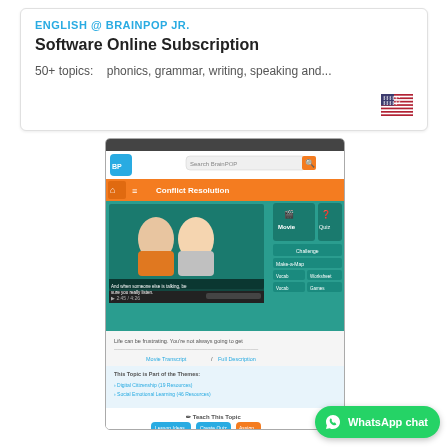ENGLISH @ BRAINPOP JR.
Software Online Subscription
50+ topics:   phonics, grammar, writing, speaking and...
[Figure (screenshot): BrainPOP Jr. interface showing 'Conflict Resolution' topic page with movie player, activity buttons (Movie, Quiz, Challenge, Make-a-Map, etc.), movie transcript, related themes (Digital Citizenship, Social Emotional Learning), Teach This Topic section, and Related Topics (Bullying, Cyberbullying, Stress, Ethics)]
WhatsApp chat